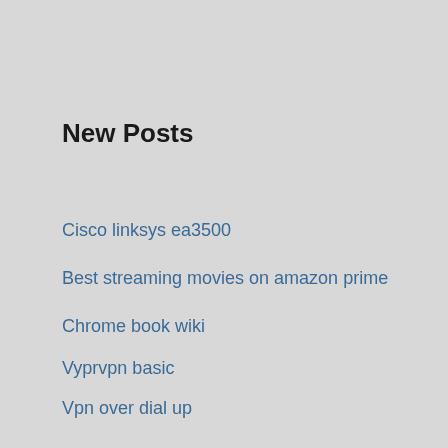New Posts
Cisco linksys ea3500
Best streaming movies on amazon prime
Chrome book wiki
Vyprvpn basic
Vpn over dial up
Top Posts
Paypal change credit card
Spotify servers